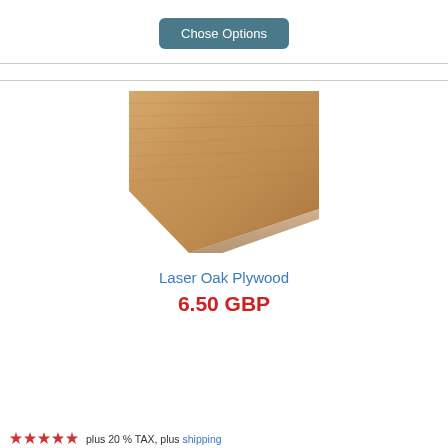Chose Options
[Figure (photo): Laser Oak Plywood sheet product photo showing wood grain texture at an angle on white background]
Laser Oak Plywood
6.50 GBP
plus 20 % TAX, plus shipping